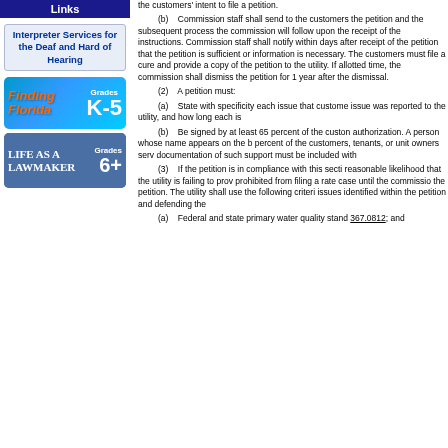Links
[Figure (illustration): Interpreter Services for the Deaf and Hard of Hearing link box]
[Figure (illustration): Finding Florida Grades K-5 educational link banner]
[Figure (illustration): Life as a Lawmaker Grades 6+ educational link banner]
(b) Commission staff shall send to the customers petition and the subsequent process the commission will follow upon the receipt of the instructions. Commission staff shall notify within days after receipt of the petition that the petition is sufficient or information is necessary. The customers must file a cure and provide a copy of the petition to the utility. If allotted time, the commission shall dismiss the petition for 1 year after the dismissal.
(2) A petition must:
(a) State with specificity each issue that customers issue was reported to the utility, and how long each is
(b) Be signed by at least 65 percent of the customers authorization. A person whose name appears on the bill percent of the customers, tenants, or unit owners served documentation of such support must be included with
(3) If the petition is in compliance with this section reasonable likelihood that the utility is failing to provide prohibited from filing a rate case until the commission the petition. The utility shall use the following criteria issues identified within the petition and defending the
(a) Federal and state primary water quality standards 367.0812; and